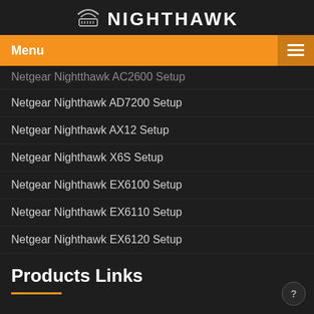NIGHTHAWK
[Figure (logo): Nighthawk router icon with WiFi signal lines above it]
Menu
Netgear Nightthawk AC2600 Setup
Netgear Nighthawk AD7200 Setup
Netgear Nighthawk AX12 Setup
Netgear Nighthawk X6S Setup
Netgear Nighthawk EX6100 Setup
Netgear Nighthawk EX6110 Setup
Netgear Nighthawk EX6120 Setup
Products Links